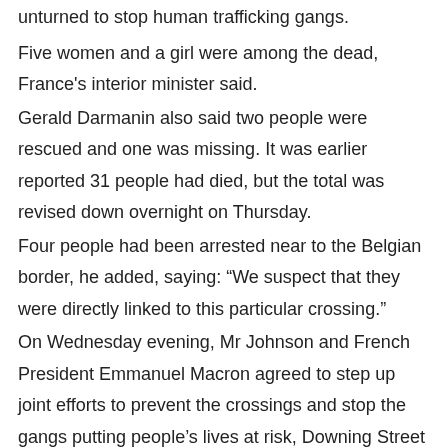unturned to stop human trafficking gangs.
Five women and a girl were among the dead, France's interior minister said.
Gerald Darmanin also said two people were rescued and one was missing. It was earlier reported 31 people had died, but the total was revised down overnight on Thursday.
Four people had been arrested near to the Belgian border, he added, saying: “We suspect that they were directly linked to this particular crossing.”
On Wednesday evening, Mr Johnson and French President Emmanuel Macron agreed to step up joint efforts to prevent the crossings and stop the gangs putting people’s lives at risk, Downing Street said.